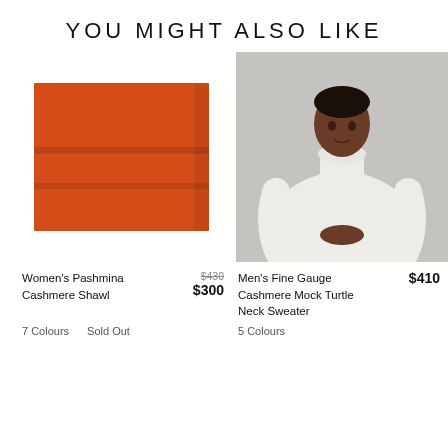YOU MIGHT ALSO LIKE
[Figure (photo): Orange/red folded cashmere shawl on white background]
[Figure (photo): Man wearing a cream-colored fine gauge cashmere mock turtleneck sweater, standing against a light grey background]
Women's Pashmina Cashmere Shawl
$430 $300
Men's Fine Gauge Cashmere Mock Turtle Neck Sweater
$410
7 Colours
Sold Out
5 Colours